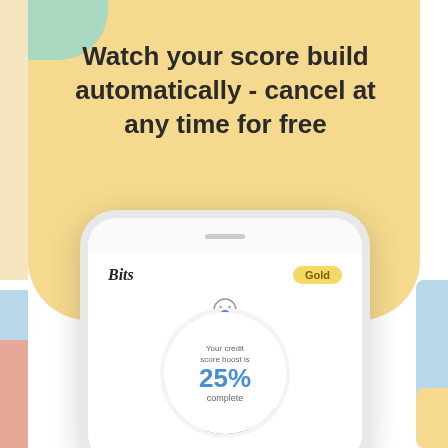[Figure (screenshot): App marketing screenshot showing a phone mockup with 'Bits Gold' credit score builder app interface. The screen shows 'Bits' label with 'Gold' badge, a smiley face icon, and a circular progress indicator showing 'Your credit score boost is 25% complete'. Decorative colored shapes (peach, green, blue, pink) form the background.]
Watch your score build automatically - cancel at any time for free